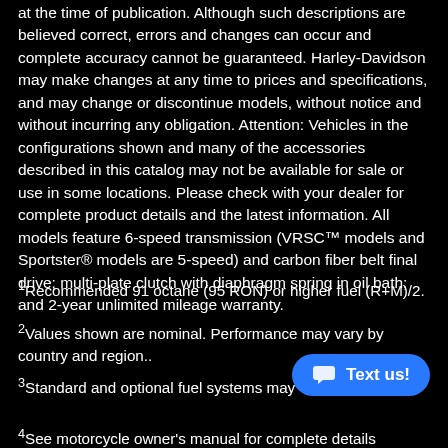at the time of publication. Although such descriptions are believed correct, errors and changes can occur and complete accuracy cannot be guaranteed. Harley-Davidson may make changes at any time to prices and specifications, and may change or discontinue models, without notice and without incurring any obligation. Attention: Vehicles in the configurations shown and many of the accessories described in this catalog may not be available for sale or use in some locations. Please check with your dealer for complete product details and the latest information. All models feature 6-speed transmission (VRSC™ models and Sportster® models are 5-speed) and carbon fiber belt final drive; multi-plate clutch with diaphragm spring in oil bath; and 2-year unlimited mileage warranty.
1Recommended 91 octane (95 RON) or higher fuel (R+M)/2.
2Values shown are nominal. Performance may vary by country and region..
3Standard and optional fuel systems may var...
4See motorcycle owner's manual for complete details